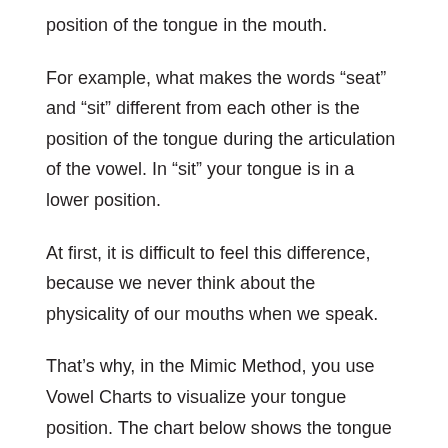position of the tongue in the mouth.
For example, what makes the words “seat” and “sit” different from each other is the position of the tongue during the articulation of the vowel. In “sit” your tongue is in a lower position.
At first, it is difficult to feel this difference, because we never think about the physicality of our mouths when we speak.
That’s why, in the Mimic Method, you use Vowel Charts to visualize your tongue position. The chart below shows the tongue position for the 5 vowels of Spanish, relative to the English vowels that most learners confuse them with.